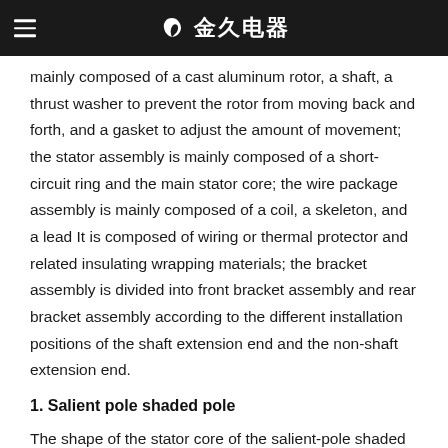金久电器
mainly composed of a cast aluminum rotor, a shaft, a thrust washer to prevent the rotor from moving back and forth, and a gasket to adjust the amount of movement; the stator assembly is mainly composed of a short-circuit ring and the main stator core; the wire package assembly is mainly composed of a coil, a skeleton, and a lead It is composed of wiring or thermal protector and related insulating wrapping materials; the bracket assembly is divided into front bracket assembly and rear bracket assembly according to the different installation positions of the shaft extension end and the non-shaft extension end.
1. Salient pole shaded pole
The shape of the stator core of the salient-pole shaded pole motor is a square, rectangular or circular magnetic field frame, with protruding magnetic poles, and each magnetic pole has one or